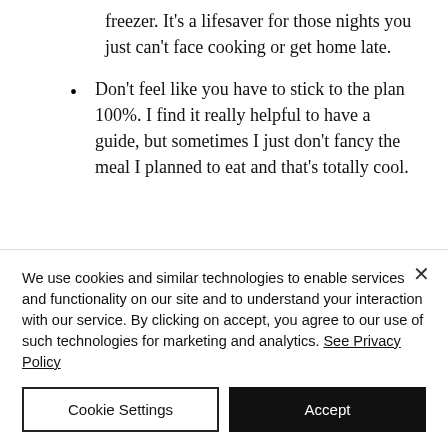freezer. It's a lifesaver for those nights you just can't face cooking or get home late.
Don't feel like you have to stick to the plan 100%. I find it really helpful to have a guide, but sometimes I just don't fancy the meal I planned to eat and that's totally cool.
We use cookies and similar technologies to enable services and functionality on our site and to understand your interaction with our service. By clicking on accept, you agree to our use of such technologies for marketing and analytics. See Privacy Policy